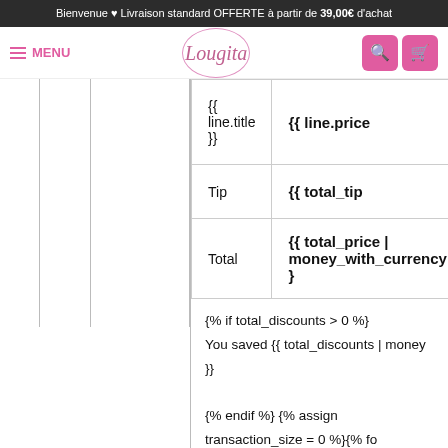Bienvenue ♥ Livraison standard OFFERTE à partir de 39,00€ d'achat
[Figure (screenshot): Navigation bar with hamburger menu (MENU), Lougita logo in circle, search and cart pink buttons]
| {{ line.title }} | {{ line.price |
| Tip | {{ total_tip |
| Total | {{ total_price | money_with_currency } |
{% if total_discounts > 0 %}
You saved {{ total_discounts | money }}

{% endif %} {% assign transaction_size = 0 %}{% for transaction in transactions %} {% unless transact… %} {% assign transaction_size = transaction_size…
Ce site utilise des cookies pour vous assurer d'obtenir la